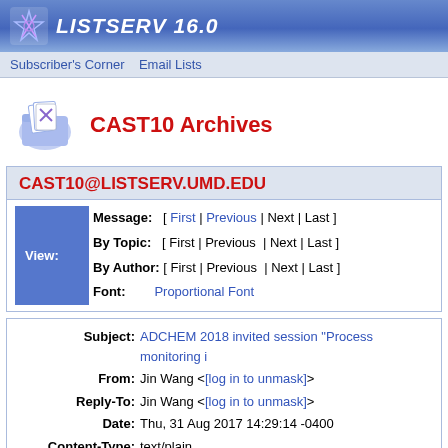LISTSERV 16.0
Subscriber's Corner   Email Lists
CAST10 Archives
CAST10@LISTSERV.UMD.EDU
| View: | Field | Navigation |
| --- | --- | --- |
|  | Message: | [ First | Previous | Next | Last ] |
|  | By Topic: | [ First | Previous | Next | Last ] |
|  | By Author: | [ First | Previous | Next | Last ] |
|  | Font: | Proportional Font |
| Field | Value |
| --- | --- |
| Subject: | ADCHEM 2018 invited session "Process monitoring i |
| From: | Jin Wang <[log in to unmask]> |
| Reply-To: | Jin Wang <[log in to unmask]> |
| Date: | Thu, 31 Aug 2017 14:29:14 -0400 |
| Content-Type: | text/plain |
| Parts/Attachments: | text/plain (50 lines) |
Dear Colleagues,